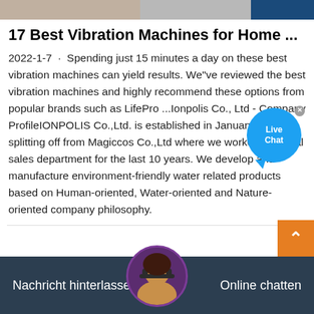[Figure (photo): Top banner image showing partial view, with dark blue section on right]
17 Best Vibration Machines for Home ...
2022-1-7 · Spending just 15 minutes a day on these best vibration machines can yield results. We"ve reviewed the best vibration machines and highly recommend these options from popular brands such as LifePro ...Ionpolis Co., Ltd - Company ProfileIONPOLIS Co.,Ltd. is established in January 2016 splitting off from Magiccos Co.,Ltd where we worked at global sales department for the last 10 years. We develop and manufacture environment-friendly water related products based on Human-oriented, Water-oriented and Nature-oriented company philosophy.
[Figure (screenshot): Live Chat bubble overlay with blue circle and X close button]
Nachricht hinterlassen   Online chatten